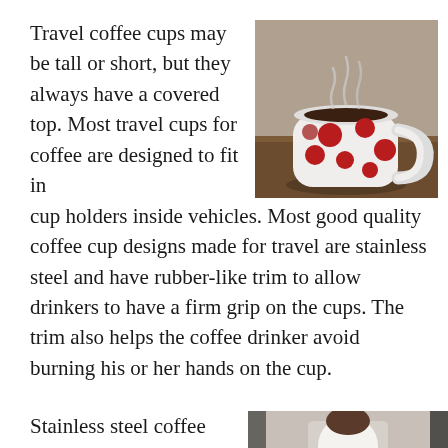Travel coffee cups may be tall or short, but they always have a covered top. Most travel cups for coffee are designed to fit in cup holders inside vehicles. Most good quality coffee cup designs made for travel are stainless steel and have rubber-like trim to allow drinkers to have a firm grip on the cups. The trim also helps the coffee drinker avoid burning his or her hands on the cup.
[Figure (photo): A white ceramic coffee mug with large red polka dots, sitting on a wooden surface, with steam rising from the top.]
Stainless steel coffee
[Figure (photo): Partial view of a person working at a desk, cropped at the bottom right of the page.]